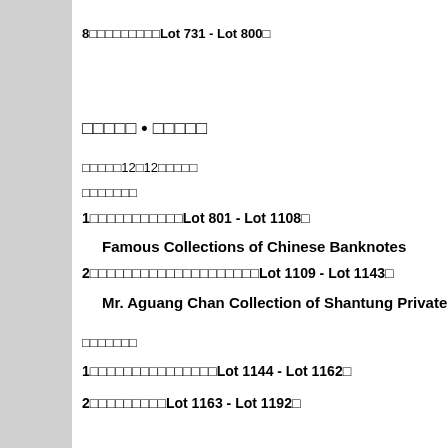8□□□□□□□□□Lot 731 - Lot 800□
□□□□□ • □□□□□
□□□□□12□12□□□□□□
□□□□□□□
1□□□□□□□□□□□Lot 801 - Lot 1108□
Famous Collections of Chinese Banknotes
2□□□□□□□□□□□□□□□□□□□□□Lot 1109 - Lot 1143□
Mr. Aguang Chan Collection of Shantung Private Con
□□□□□□□
1□□□□□□□□□□□□□□□Lot 1144 - Lot 1162□
2□□□□□□□□□Lot 1163 - Lot 1192□